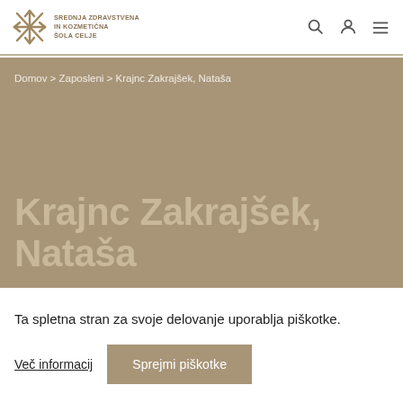Srednja zdravstvena in kozmetična šola Celje — navigation header with logo, search, user, and menu icons
Domov > Zaposleni > Krajnc Zakrajšek, Nataša
Krajnc Zakrajšek, Nataša
Ta spletna stran za svoje delovanje uporablja piškotke.
Več informacij   Sprejmi piškotke